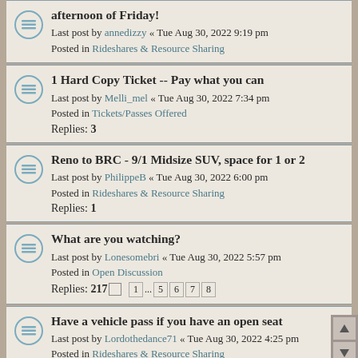afternoon of Friday! Last post by annedizzy « Tue Aug 30, 2022 9:19 pm Posted in Rideshares & Resource Sharing
1 Hard Copy Ticket -- Pay what you can Last post by Melli_mel « Tue Aug 30, 2022 7:34 pm Posted in Tickets/Passes Offered Replies: 3
Reno to BRC - 9/1 Midsize SUV, space for 1 or 2 Last post by PhilippeB « Tue Aug 30, 2022 6:00 pm Posted in Rideshares & Resource Sharing Replies: 1
What are you watching? Last post by Lonesomebri « Tue Aug 30, 2022 5:57 pm Posted in Open Discussion Replies: 217 [1 ... 5 6 7 8]
Have a vehicle pass if you have an open seat Last post by Lordothedance71 « Tue Aug 30, 2022 4:25 pm Posted in Rideshares & Resource Sharing